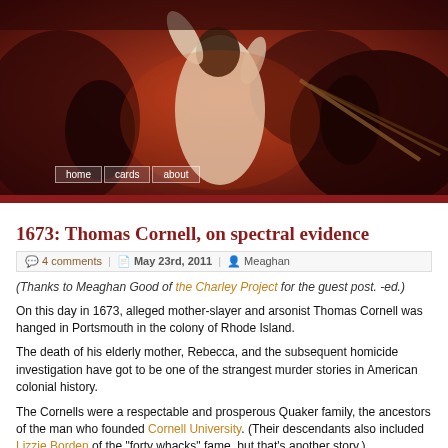[Figure (photo): Dramatic painting of figures in dark reddish tones, with a central figure in white raising arms, others around with weapons, dark background]
home  cards  about
1673: Thomas Cornell, on spectral evidence
4 comments  |  May 23rd, 2011  |  Meaghan
(Thanks to Meaghan Good of the Charley Project for the guest post. -ed.)
On this day in 1673, alleged mother-slayer and arsonist Thomas Cornell was hanged in Portsmouth in the colony of Rhode Island.
The death of his elderly mother, Rebecca, and the subsequent homicide investigation have got to be one of the strangest murder stories in American colonial history.
The Cornells were a respectable and prosperous Quaker family, the ancestors of the man who founded Cornell University. (Their descendants also included Lizzie Borden of the "forty whacks" fame, but that's another story.)